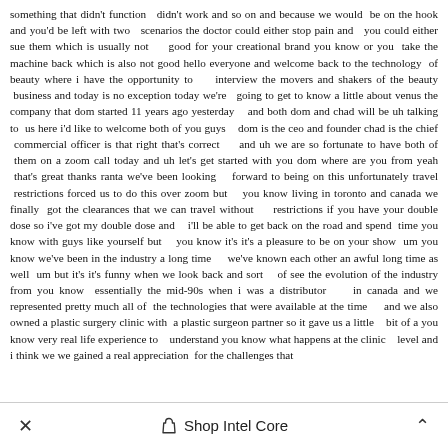something that didn't function  didn't work and so on and because we would be on the hook and you'd be left with two  scenarios the doctor could either stop pain and  you could either sue them which is usually not  good for your creational brand you know or you take the machine back which is also not good hello everyone and welcome back to the technology of beauty where i have the opportunity to  interview the movers and shakers of the beauty business and today is no exception today we're  going to get to know a little about venus the company that dom started 11 years ago yesterday  and both dom and chad will be uh talking to us here i'd like to welcome both of you guys  dom is the ceo and founder chad is the chief commercial officer is that right that's correct  and uh we are so fortunate to have both of them on a zoom call today and uh let's get started with you dom where are you from yeah that's great thanks ranta we've been looking  forward to being on this unfortunately travel restrictions forced us to do this over zoom but  you know living in toronto and canada we finally got the clearances that we can travel without  restrictions if you have your double dose so i've got my double dose and i'll be able to get back on the road and spend time you know with guys like yourself but you know it's it's a pleasure to be on your show um you know we've been in the industry a long time  we've known each other an awful long time as well um but it's it's funny when we look back and sort of see the evolution of the industry from you know essentially the mid-90s when i was a distributor in canada and we represented pretty much all of the technologies that were available at the time and we also owned a plastic surgery clinic with a plastic surgeon partner so it gave us a little bit of a you know very real life experience to understand you know what happens at the clinic level and i think we we gained a real appreciation for the challenges that
× Shop Intel Core ^